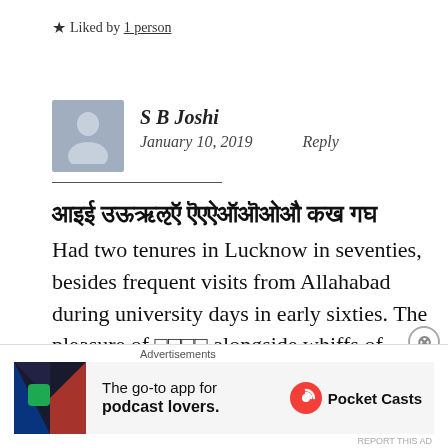★ Liked by 1 person
S B Joshi
January 10, 2019   Reply
Had two tenures in Lucknow in seventies, besides frequent visits from Allahabad during university days in early sixties. The pleasure of □□□□ alongside whiffs of perfume from the passing beauties and dime a dozen □□□□□s in
[Figure (screenshot): Advertisement banner for Pocket Casts app: 'The go-to app for podcast lovers.']